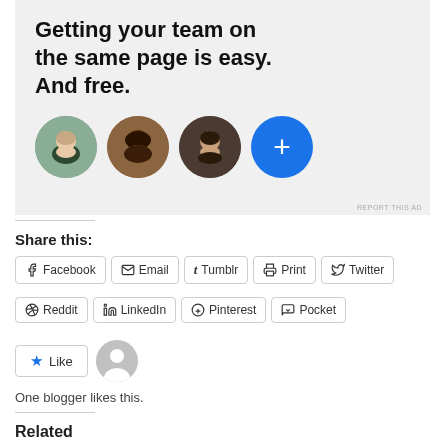[Figure (illustration): Advertisement banner with text 'Getting your team on the same page is easy. And free.' and three circular profile photo avatars plus a blue plus button]
Share this:
Facebook  Email  Tumblr  Print  Twitter  Reddit  LinkedIn  Pinterest  Pocket
One blogger likes this.
Related